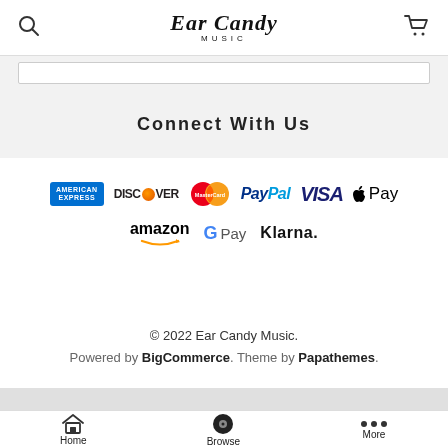Ear Candy Music
[Figure (screenshot): Search bar input area]
Connect With Us
[Figure (logo): Payment method logos: American Express, Discover, MasterCard, PayPal, VISA, Apple Pay, amazon, G Pay, Klarna]
© 2022 Ear Candy Music.
Powered by BigCommerce. Theme by Papathemes.
Home  Browse  More